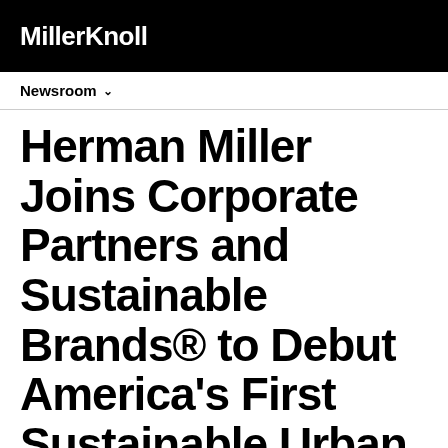MillerKnoll
Newsroom
Herman Miller Joins Corporate Partners and Sustainable Brands® to Debut America's First Sustainable Urban Agrihood in Detroit